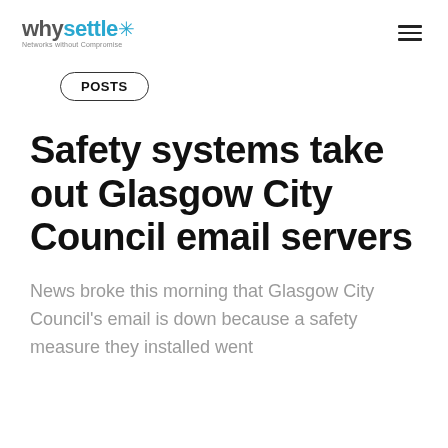whysettle — Networks without Compromise
POSTS
Safety systems take out Glasgow City Council email servers
News broke this morning that Glasgow City Council's email is down because a safety measure they installed went